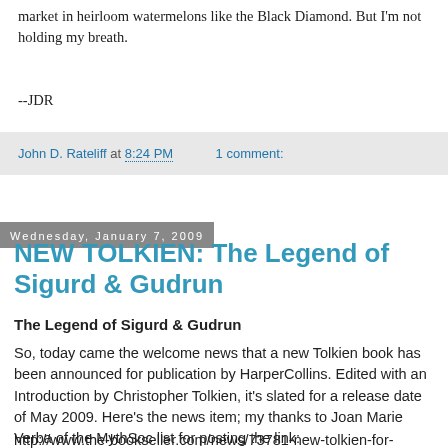market in heirloom watermelons like the Black Diamond. But I'm not holding my breath.
--JDR
John D. Rateliff at 8:24 PM    1 comment:
Wednesday, January 7, 2009
NEW TOLKIEN: The Legend of Sigurd & Gudrun
The Legend of Sigurd & Gudrun
So, today came the welcome news that a new Tolkien book has been announced for publication by HarperCollins. Edited with an Introduction by Christopher Tolkien, it's slated for a release date of May 2009. Here's the news item; my thanks to Joan Marie Verba of the MythSoc list for posting the link:
http://www.the-bookseller.com/news/73781-new-tolkien-for-